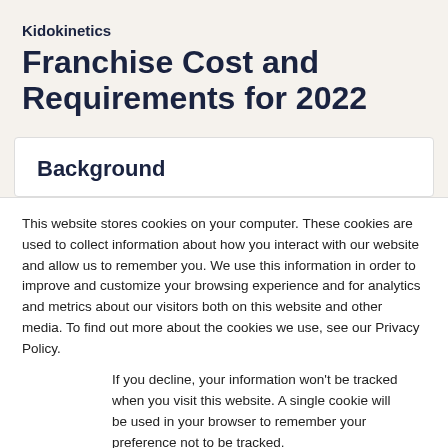Kidokinetics
Franchise Cost and Requirements for 2022
Background
This website stores cookies on your computer. These cookies are used to collect information about how you interact with our website and allow us to remember you. We use this information in order to improve and customize your browsing experience and for analytics and metrics about our visitors both on this website and other media. To find out more about the cookies we use, see our Privacy Policy.
If you decline, your information won't be tracked when you visit this website. A single cookie will be used in your browser to remember your preference not to be tracked.